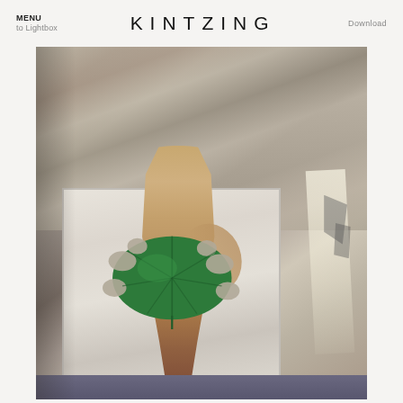MENU  to Lightbox    KINTZING    Download
[Figure (photo): A photograph showing a figure standing nude with a large green monstera leaf held in front of the lower body. The figure is reflected or framed in a mirror. Background is draped fabric with natural light casting shadows. A dark fabric or surface is visible at the bottom.]